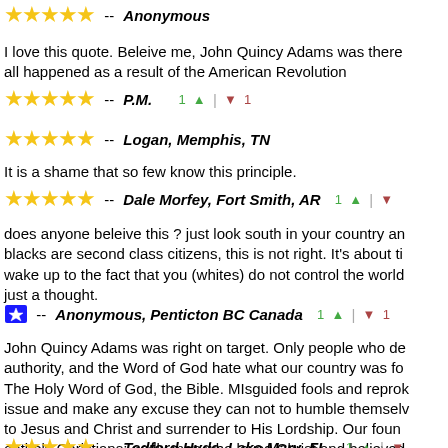★★★★★ -- Anonymous
I love this quote. Beleive me, John Quincy Adams was there all happened as a result of the American Revolution
★★★★★ -- P.M.   1 ▲ | ▼ 1
★★★★★ -- Logan, Memphis, TN
It is a shame that so few know this principle.
★★★★★ -- Dale Morfey, Fort Smith, AR   1 ▲ | ▼
does anyone beleive this ? just look south in your country and blacks are second class citizens, this is not right. It's about ti wake up to the fact that you (whites) do not control the world just a thought.
[thumb icon] -- Anonymous, Penticton BC Canada   1 ▲ | ▼ 1
John Quincy Adams was right on target. Only people who de authority, and the Word of God hate what our country was fo The Holy Word of God, the Bible. MIsguided fools and reprok issue and make any excuse they can not to humble themselv to Jesus and Christ and surrender to His Lordship. Our foun entirely Christians; godly men who loved Christ and believed tragic our nation has become and fallen to the depths of dep
★★★★★ -- Tedford Hyde, Lake Mary, FL.   1 ▲ | ▼
Um, excuse me, but this was made in an era in which most c population of America" was Christian. What if someone hate